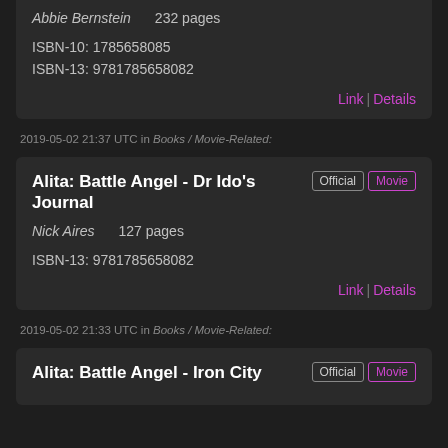Abbie Bernstein   232 pages
ISBN-10: 1785658085
ISBN-13: 9781785658082
Link | Details
2019-05-02 21:37 UTC in Books / Movie-Related:
Alita: Battle Angel - Dr Ido's Journal
Nick Aires   127 pages
ISBN-13: 9781785658082
Link | Details
2019-05-02 21:33 UTC in Books / Movie-Related:
Alita: Battle Angel - Iron City